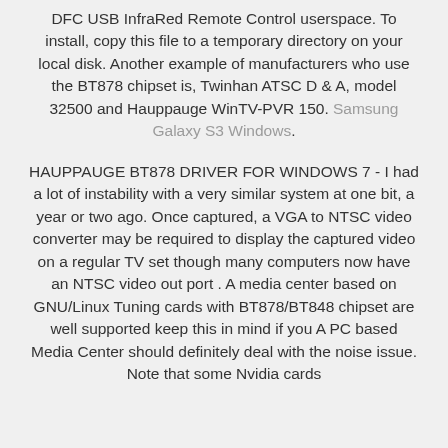DFC USB InfraRed Remote Control userspace. To install, copy this file to a temporary directory on your local disk. Another example of manufacturers who use the BT878 chipset is, Twinhan ATSC D & A, model 32500 and Hauppauge WinTV-PVR 150. Samsung Galaxy S3 Windows.
HAUPPAUGE BT878 DRIVER FOR WINDOWS 7 - I had a lot of instability with a very similar system at one bit, a year or two ago. Once captured, a VGA to NTSC video converter may be required to display the captured video on a regular TV set though many computers now have an NTSC video out port . A media center based on GNU/Linux Tuning cards with BT878/BT848 chipset are well supported keep this in mind if you A PC based Media Center should definitely deal with the noise issue. Note that some Nvidia cards